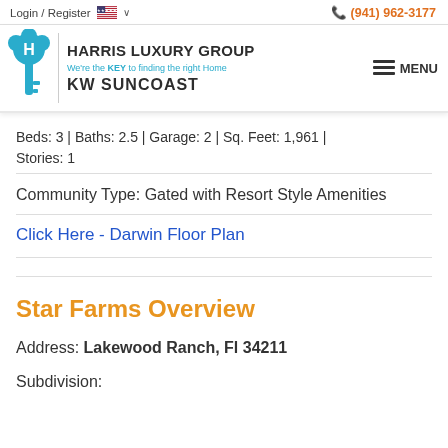Login / Register  🇺🇸 ∨    (941) 962-3177
[Figure (logo): Harris Luxury Group / KW Suncoast logo with teal key icon, tagline 'We're the KEY to finding the right Home', and MENU hamburger button]
Beds: 3 | Baths: 2.5 | Garage: 2 | Sq. Feet: 1,961 | Stories: 1
Community Type: Gated with Resort Style Amenities
Click Here - Darwin Floor Plan
Star Farms Overview
Address: Lakewood Ranch, Fl 34211
Subdivision: